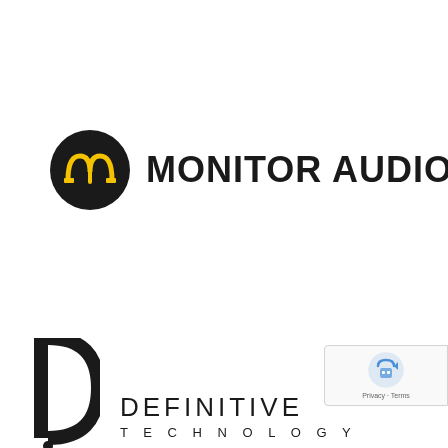[Figure (logo): Monitor Audio logo: black circle with yellow stylized M (omega-like) symbol, followed by bold black text 'MONITOR AUDIO']
[Figure (logo): Definitive Technology logo: large bold D lettermark on left, followed by 'DEFINITIVE' in spaced caps and 'TECHNOLOGY' in smaller spaced caps below]
[Figure (other): reCAPTCHA badge showing robot icon and 'Privacy - Terms' text]